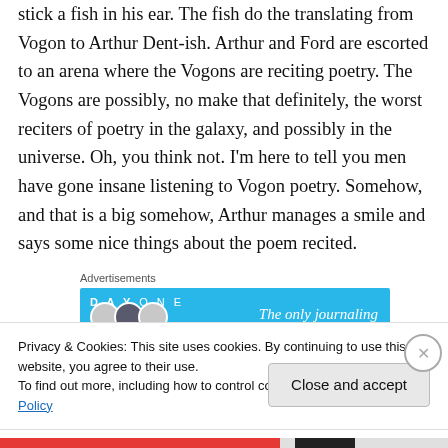stick a fish in his ear. The fish do the translating from Vogon to Arthur Dent-ish. Arthur and Ford are escorted to an arena where the Vogons are reciting poetry. The Vogons are possibly, no make that definitely, the worst reciters of poetry in the galaxy, and possibly in the universe. Oh, you think not. I'm here to tell you men have gone insane listening to Vogon poetry. Somehow, and that is a big somehow, Arthur manages a smile and says some nice things about the poem recited.
Advertisements
[Figure (screenshot): Advertisement banner for DAY ONE journaling app with blue background, app icon circles, and text 'The only journaling']
Privacy & Cookies: This site uses cookies. By continuing to use this website, you agree to their use.
To find out more, including how to control cookies, see here: Cookie Policy